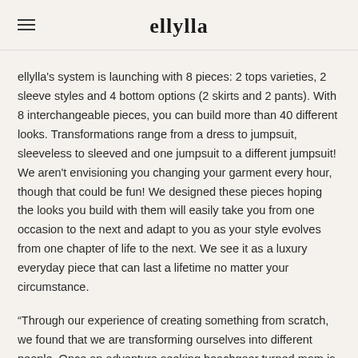ellylla
ellylla's system is launching with 8 pieces: 2 tops varieties, 2 sleeve styles and 4 bottom options (2 skirts and 2 pants). With 8 interchangeable pieces, you can build more than 40 different looks. Transformations range from a dress to jumpsuit, sleeveless to sleeved and one jumpsuit to a different jumpsuit! We aren't envisioning you changing your garment every hour, though that could be fun! We designed these pieces hoping the looks you build with them will easily take you from one occasion to the next and adapt to you as your style evolves from one chapter of life to the next. We see it as a luxury everyday piece that can last a lifetime no matter your circumstance.
“Through our experience of creating something from scratch, we found that we are transforming ourselves into different people. Once an adventure seeking beachgoer turned mom is now a boundary pushing, becoming more confident by the